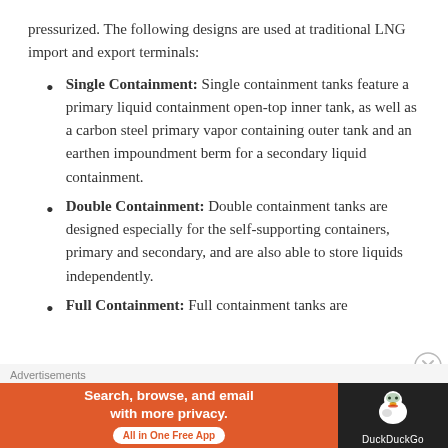pressurized. The following designs are used at traditional LNG import and export terminals:
Single Containment: Single containment tanks feature a primary liquid containment open-top inner tank, as well as a carbon steel primary vapor containing outer tank and an earthen impoundment berm for a secondary liquid containment.
Double Containment: Double containment tanks are designed especially for the self-supporting containers, primary and secondary, and are also able to store liquids independently.
Full Containment: Full containment tanks are
[Figure (infographic): DuckDuckGo advertisement banner: orange background with text 'Search, browse, and email with more privacy. All in One Free App' and DuckDuckGo logo on dark background]